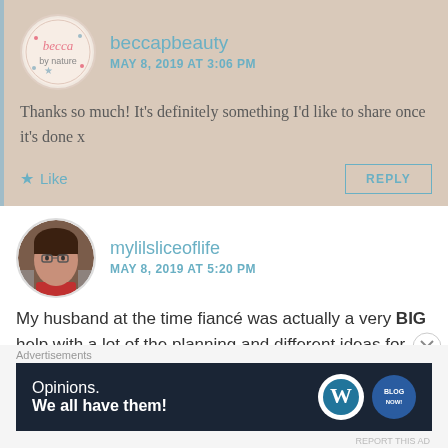[Figure (screenshot): Blog comment section screenshot showing two comments and an advertisement banner]
beccapbeauty
MAY 8, 2019 AT 3:06 PM
Thanks so much! It's definitely something I'd like to share once it's done x
Like
REPLY
mylilsliceoflife
MAY 8, 2019 AT 5:20 PM
My husband at the time fiancé was actually a very BIG help with a lot of the planning and different ideas for certain
Advertisements
Opinions. We all have them!